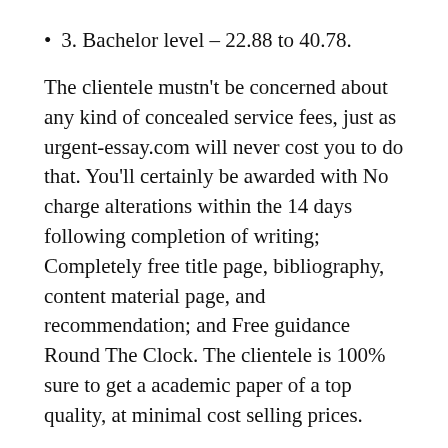3. Bachelor level – 22.88 to 40.78.
The clientele mustn't be concerned about any kind of concealed service fees, just as urgent-essay.com will never cost you to do that. You'll certainly be awarded with No charge alterations within the 14 days following completion of writing; Completely free title page, bibliography, content material page, and recommendation; and Free guidance Round The Clock. The clientele is 100% sure to get a academic paper of a top quality, at minimal cost selling prices.
Price cuts and extra features